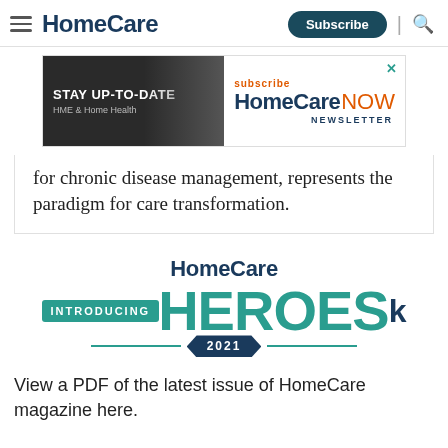HomeCare | Subscribe
[Figure (infographic): HomeCare NOW Newsletter advertisement banner with 'STAY UP-TO-DATE HME & Home Health' text on left and 'subscribe HomeCare NOW NEWSLETTER' on right]
for chronic disease management, represents the paradigm for care transformation.
[Figure (logo): HomeCare Heroes 2021 logo with 'INTRODUCING HEROES' text and pentagon-shaped 2021 year badge]
View a PDF of the latest issue of HomeCare magazine here.